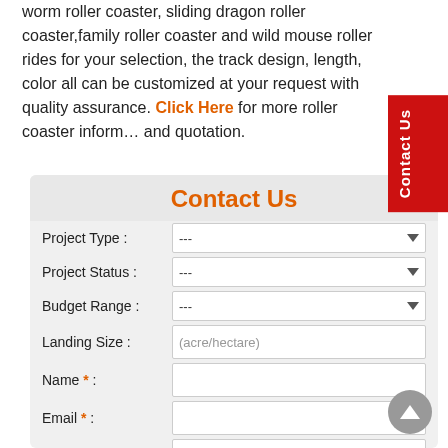worm roller coaster, sliding dragon roller coaster,family roller coaster and wild mouse roller rides for your selection, the track design, length, color all can be customized at your request with quality assurance. Click Here for more roller coaster information and quotation.
Contact Us
Project Type : ---
Project Status : ---
Budget Range : ---
Landing Size : (acre/hectare)
Name * :
Email * :
Phone * : 【with the area code】